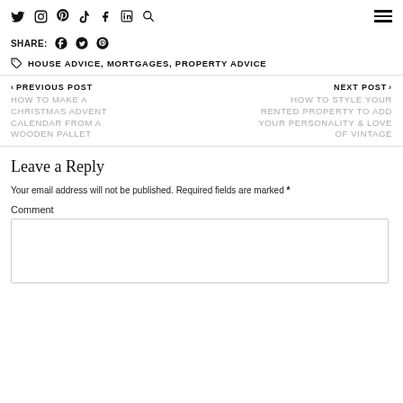Social nav icons: Twitter, Instagram, Pinterest, TikTok, Facebook, LinkedIn, Search, Hamburger menu
SHARE: [Facebook] [Twitter] [Pinterest]
HOUSE ADVICE, MORTGAGES, PROPERTY ADVICE
< PREVIOUS POST
HOW TO MAKE A CHRISTMAS ADVENT CALENDAR FROM A WOODEN PALLET
NEXT POST >
HOW TO STYLE YOUR RENTED PROPERTY TO ADD YOUR PERSONALITY & LOVE OF VINTAGE
Leave a Reply
Your email address will not be published. Required fields are marked *
Comment